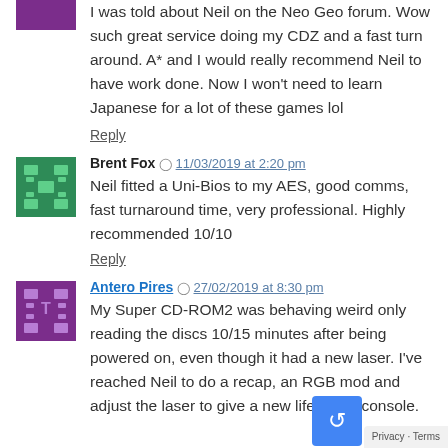I was told about Neil on the Neo Geo forum. Wow such great service doing my CDZ and a fast turn around. A* and I would really recommend Neil to have work done. Now I won't need to learn Japanese for a lot of these games lol
Reply
Brent Fox  11/03/2019 at 2:20 pm
Neil fitted a Uni-Bios to my AES, good comms, fast turnaround time, very professional. Highly recommended 10/10
Reply
Antero Pires  27/02/2019 at 8:30 pm
My Super CD-ROM2 was behaving weird only reading the discs 10/15 minutes after being powered on, even though it had a new laser. I've reached Neil to do a recap, an RGB mod and adjust the laser to give a new life to my console.